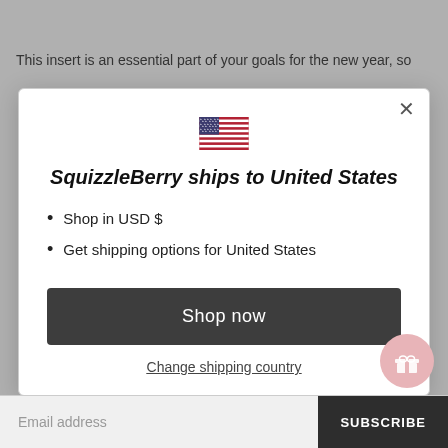This insert is an essential part of your goals for the new year, so
[Figure (screenshot): Modal dialog showing SquizzleBerry ships to United States with US flag, bullet points: Shop in USD $, Get shipping options for United States, a dark Shop now button, and a Change shipping country link. A pink gift bubble icon appears at the bottom right of the modal.]
Email address
SUBSCRIBE